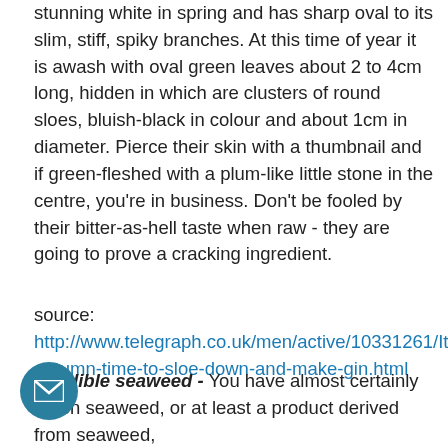stunning white in spring and has sharp oval to its slim, stiff, spiky branches. At this time of year it is awash with oval green leaves about 2 to 4cm long, hidden in which are clusters of round sloes, bluish-black in colour and about 1cm in diameter. Pierce their skin with a thumbnail and if green-fleshed with a plum-like little stone in the centre, you're in business. Don't be fooled by their bitter-as-hell taste when raw - they are going to prove a cracking ingredient.
source: http://www.telegraph.co.uk/men/active/10331261/Its-autumn-time-to-sloe-down-and-make-gin.html
9. Edible seaweed - You have almost certainly eaten seaweed, or at least a product derived from seaweed, but ever realising it, and there are some five to six hundred seaweed species found around the coasts of the British Isles with about six thousand found worldwide.